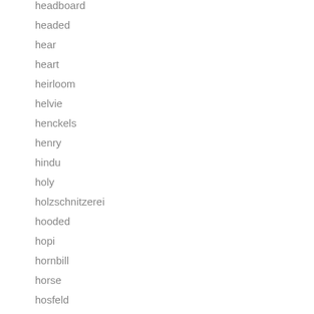headboard
headed
hear
heart
heirloom
helvie
henckels
henry
hindu
holy
holzschnitzerei
hooded
hopi
hornbill
horse
hosfeld